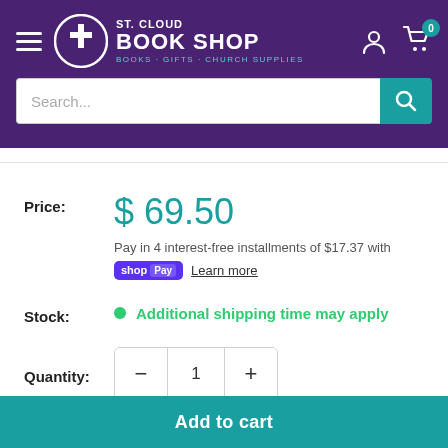[Figure (logo): St. Cloud Book Shop logo with cross icon, subtitle: Books · Gifts · Church Supplies, on purple header background]
Search...
Price: $ 69.50
Pay in 4 interest-free installments of $17.37 with shop Pay Learn more
Stock: Additional shipping time may apply
Quantity: 1
Add to cart